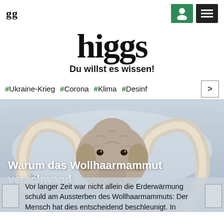gg
higgs
Du willst es wissen!
#Ukraine-Krieg  #Corona  #Klima  #Desinf
[Figure (photo): Illustration of a woolly mammoth with large curved tusks against a misty grey background]
Warum das Wollhaarmammut verschwand
Vor langer Zeit war nicht allein die Erderwärmung schuld am Aussterben des Wollhaarmammuts: Der Mensch hat dies entscheidend beschleunigt. In